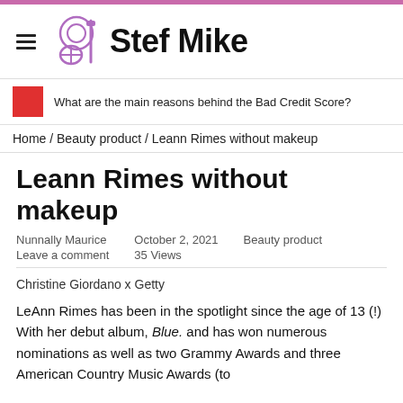Stef Mike
What are the main reasons behind the Bad Credit Score?
Home / Beauty product / Leann Rimes without makeup
Leann Rimes without makeup
Nunnally Maurice
Leave a comment
October 2, 2021
35 Views
Beauty product
Christine Giordano x Getty
LeAnn Rimes has been in the spotlight since the age of 13 (!) With her debut album, Blue. and has won numerous nominations as well as two Grammy Awards and three American Country Music Awards (to